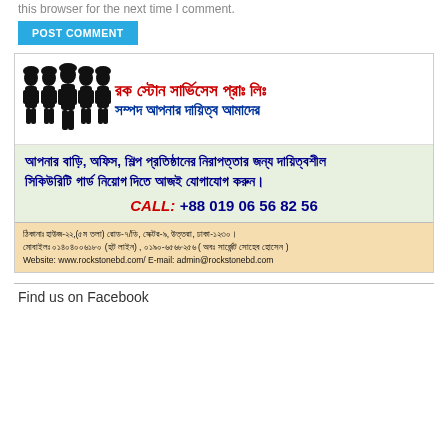this browser for the next time I comment.
POST COMMENT
[Figure (illustration): Advertisement for Rock Stone Services Pvt. Ltd. - a security services company in Bangladesh. Contains silhouette icons of security guards, Bengali text for company name and tagline, contact number +88 019 06 56 82 56, address and website information.]
Find us on Facebook